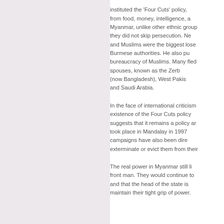instituted the 'Four Cuts' policy, from food, money, intelligence, a Myanmar, unlike other ethnic group they did not skip persecution. Ne and Muslims were the biggest lose Burmese authorities. He also pu bureaucracy of Muslims. Many fled spouses, known as the Zerb (now Bangladesh), West Pakis and Saudi Arabia. In the face of international criticism existence of the Four Cuts policy suggests that it remains a policy ar took place in Mandalay in 1997 campaigns have also been dire exterminate or evict them from their The real power in Myanmar still li front man. They would continue to and that the head of the state is maintain their tight grip of power.